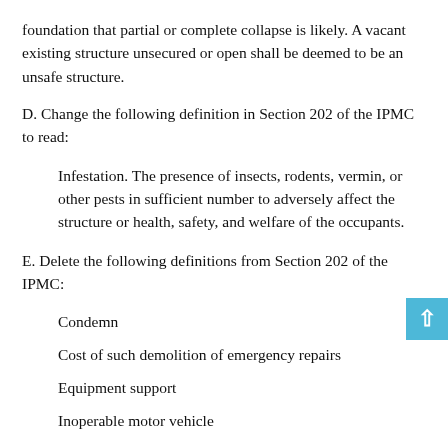foundation that partial or complete collapse is likely. A vacant existing structure unsecured or open shall be deemed to be an unsafe structure.
D. Change the following definition in Section 202 of the IPMC to read:
Infestation. The presence of insects, rodents, vermin, or other pests in sufficient number to adversely affect the structure or health, safety, and welfare of the occupants.
E. Delete the following definitions from Section 202 of the IPMC:
Condemn
Cost of such demolition of emergency repairs
Equipment support
Inoperable motor vehicle